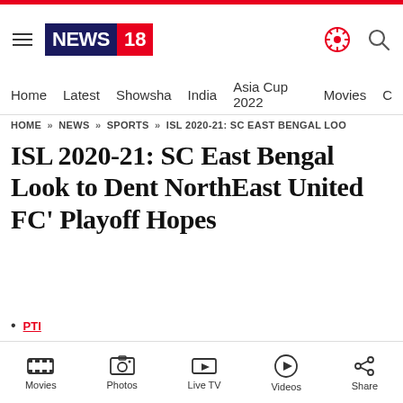NEWS18 — navigation header with logo, hamburger menu, search and settings icons
Home | Latest | Showsha | India | Asia Cup 2022 | Movies | C…
HOME » NEWS » SPORTS » ISL 2020-21: SC EAST BENGAL LOO
ISL 2020-21: SC East Bengal Look to Dent NorthEast United FC' Playoff Hopes
• PTI
• Last Updated: FEBRUARY 23, 2021, 09:38 IST
• Margao
Movies | Photos | Live TV | Videos | Share